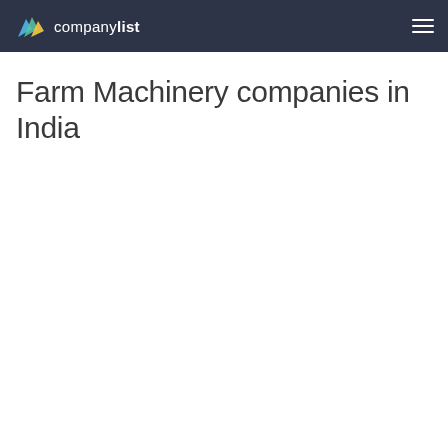companylist
Farm Machinery companies in India